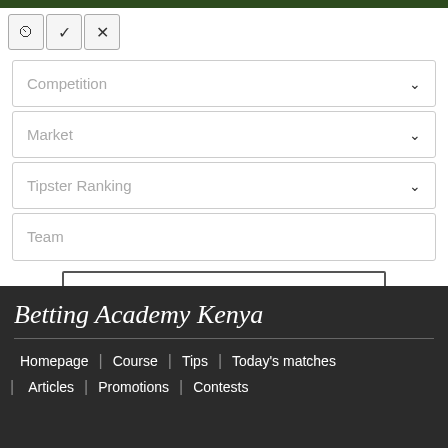[Figure (screenshot): Dark green top navigation bar strip]
[Figure (screenshot): Three icon buttons: clock/history, checkmark, and X (close)]
Competition
Market
Tipster Ranking
Team
SEARCH TIPS
Betting Academy Kenya
Homepage | Course | Tips | Today's matches
| Articles | Promotions | Contests